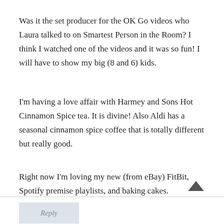Was it the set producer for the OK Go videos who Laura talked to on Smartest Person in the Room? I think I watched one of the videos and it was so fun! I will have to show my big (8 and 6) kids.
I'm having a love affair with Harmey and Sons Hot Cinnamon Spice tea. It is divine! Also Aldi has a seasonal cinnamon spice coffee that is totally different but really good.
Right now I'm loving my new (from eBay) FitBit, Spotify premise playlists, and baking cakes.